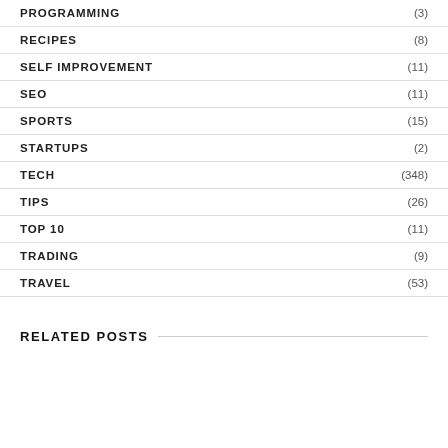PROGRAMMING (3)
RECIPES (8)
SELF IMPROVEMENT (11)
SEO (11)
SPORTS (15)
STARTUPS (2)
TECH (348)
TIPS (26)
TOP 10 (11)
TRADING (9)
TRAVEL (53)
RELATED POSTS